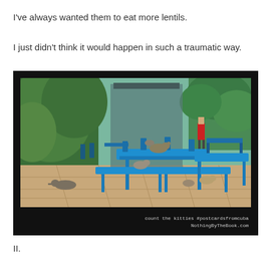I've always wanted them to eat more lentils.
I just didn't think it would happen in such a traumatic way.
[Figure (photo): Outdoor restaurant patio with blue picnic tables and benches, multiple cats sitting on and under the tables, lush green bushes on the left, a person in a red shirt visible in the background, stone patio floor. Caption reads: count the kitties #postcardsfromcuba NothingByTheBook.com]
II.